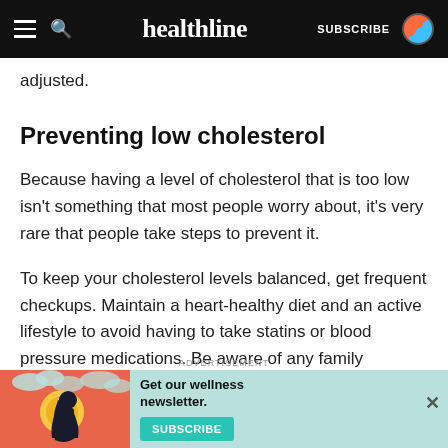healthline — SUBSCRIBE
adjusted.
Preventing low cholesterol
Because having a level of cholesterol that is too low isn't something that most people worry about, it's very rare that people take steps to prevent it.
To keep your cholesterol levels balanced, get frequent checkups. Maintain a heart-healthy diet and an active lifestyle to avoid having to take statins or blood pressure medications. Be aware of any family
ADVERTISEMENT
[Figure (illustration): Advertisement banner for a wellness newsletter with an illustration of a woman, teal background, and a Subscribe button. Text reads: Get our wellness newsletter.]